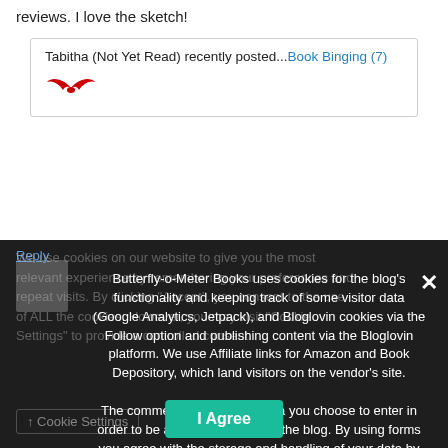reviews. I love the sketch!
Tabitha (Not Yet Read) recently posted...Book Binging (7)
Reply
Butterfly-o-Meter Books uses cookies for the blog's functionality and keeping track of some visitor data (Google Analytics, Jetpack), and Bloglovin cookies via the Follow option and publishing content via the Bloglovin platform. We use Affiliate links for Amazon and Book Depository, which land visitors on the vendor's site.
The comment system uses data you choose to enter in order to be able to comment on the blog. By using forms you agree with the storage and handling of your data by this website.
Plug-in Cookies  Analytics  Bloglovin
Privacy Preferences
We use cookies on our website to give you the most relevant experience by remembering your preferences and repeat visits. By clicking "Accept", you consent to the use of ALL the cookies. However, you may visit "Cookie Settings" to provide a controlled consent.
Cookie Settings
I Agree